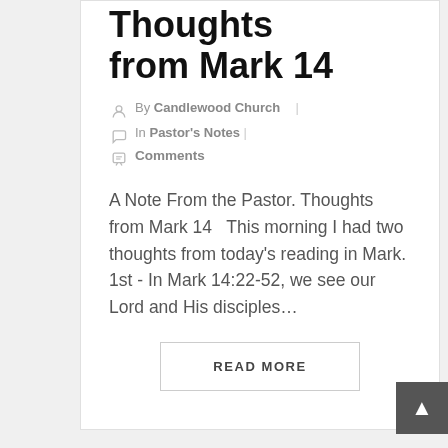Thoughts from Mark 14
By Candlewood Church | In Pastor's Notes | Comments
A Note From the Pastor. Thoughts from Mark 14   This morning I had two thoughts from today's reading in Mark. 1st - In Mark 14:22-52, we see our Lord and His disciples…